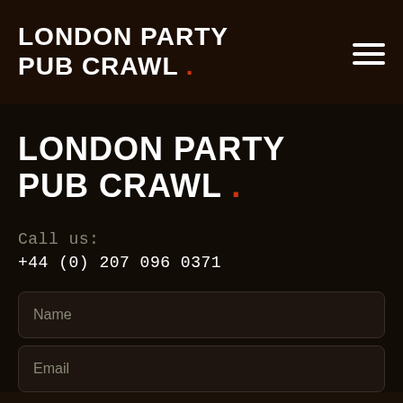LONDON PARTY PUB CRAWL .
LONDON PARTY PUB CRAWL .
Call us:
+44 (0) 207 096 0371
Name
Email